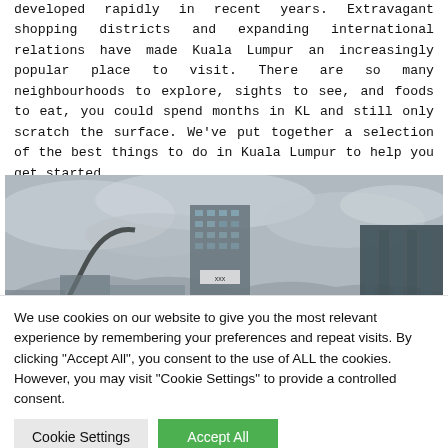developed rapidly in recent years. Extravagant shopping districts and expanding international relations have made Kuala Lumpur an increasingly popular place to visit. There are so many neighbourhoods to explore, sights to see, and foods to eat, you could spend months in KL and still only scratch the surface. We've put together a selection of the best things to do in Kuala Lumpur to help you get started.
[Figure (photo): Photograph of Kuala Lumpur skyline showing tall glass skyscrapers under an overcast cloudy sky, with a curved street lamp in the foreground left.]
We use cookies on our website to give you the most relevant experience by remembering your preferences and repeat visits. By clicking "Accept All", you consent to the use of ALL the cookies. However, you may visit "Cookie Settings" to provide a controlled consent.